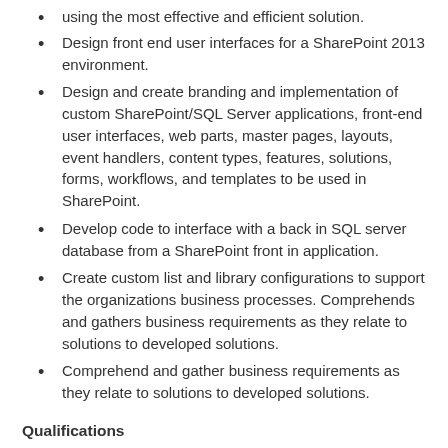using the most effective and efficient solution.
Design front end user interfaces for a SharePoint 2013 environment.
Design and create branding and implementation of custom SharePoint/SQL Server applications, front-end user interfaces, web parts, master pages, layouts, event handlers, content types, features, solutions, forms, workflows, and templates to be used in SharePoint.
Develop code to interface with a back in SQL server database from a SharePoint front in application.
Create custom list and library configurations to support the organizations business processes. Comprehends and gathers business requirements as they relate to solutions to developed solutions.
Comprehend and gather business requirements as they relate to solutions to developed solutions.
Qualifications
Required Education and Experience:
...